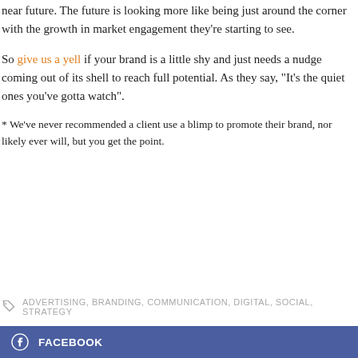near future. The future is looking more like being just around the corner with the growth in market engagement they're starting to see.
So give us a yell if your brand is a little shy and just needs a nudge coming out of its shell to reach full potential. As they say, "It's the quiet ones you've gotta watch".
* We've never recommended a client use a blimp to promote their brand, nor likely ever will, but you get the point.
ADVERTISING, BRANDING, COMMUNICATION, DIGITAL, SOCIAL, STRATEGY
FACEBOOK